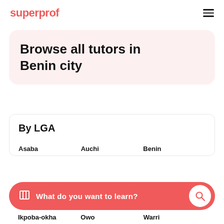superprof
Browse all tutors in Benin city
By LGA
Asaba
Auchi
Benin
What do you want to learn?
Ikpoba-okha
Owo
Warri